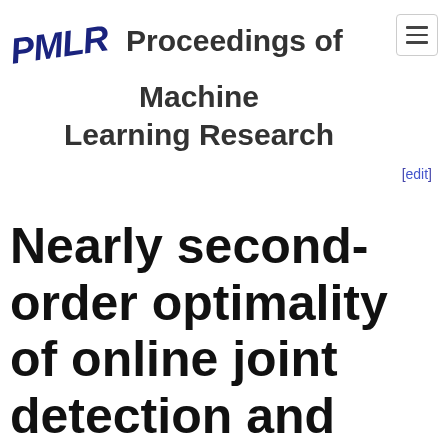PMLR Proceedings of Machine Learning Research
[edit]
Nearly second-order optimality of online joint detection and estimation via one-